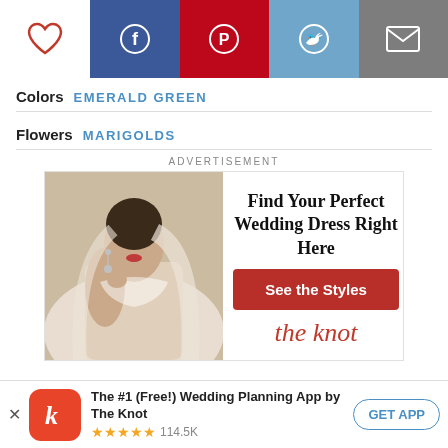[Figure (other): Social sharing toolbar with heart/like icon, Facebook, Pinterest, Twitter, and email icons]
Colors  EMERALD GREEN
Flowers  MARIGOLDS
ADVERTISEMENT
[Figure (photo): Advertisement for The Knot wedding dress finder. Shows a bride photo on left, text 'Find Your Perfect Wedding Dress Right Here', a red 'See the Styles' button, and 'the knot' logo in red cursive on the right side.]
[Figure (other): App install banner: The Knot app icon (red with white 'k'), title 'The #1 (Free!) Wedding Planning App by The Knot', 5 star rating, 114.5K reviews, GET APP button]